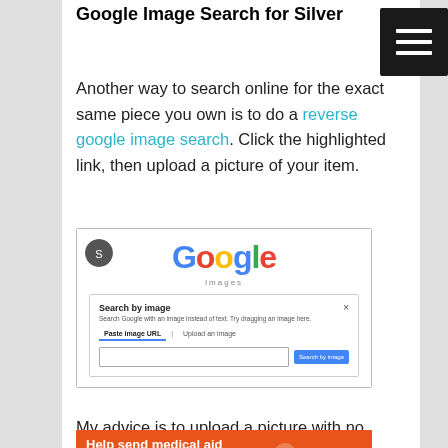Google Image Search for Silver
Another way to search online for the exact same piece you own is to do a reverse google image search. Click the highlighted link, then upload a picture of your item.
[Figure (screenshot): Screenshot of Google Images homepage showing the 'Search by image' dialog box with fields for 'Paste image URL' and 'Upload an image', and a 'Search by image' button.]
My advice is to upload a picture with no other
[Figure (infographic): Orange banner ad: 'Help send medical aid to Ukraine >>' with Direct Relief logo]